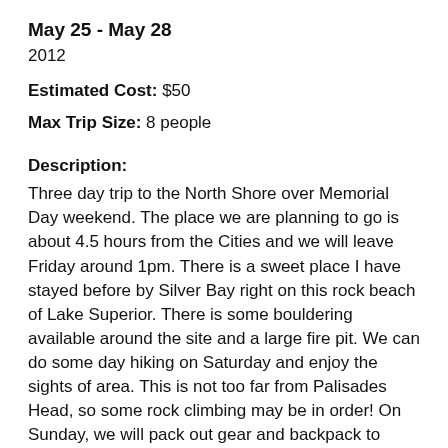May 25 – May 28
2012
Estimated Cost: $50
Max Trip Size: 8 people
Description:
Three day trip to the North Shore over Memorial Day weekend. The place we are planning to go is about 4.5 hours from the Cities and we will leave Friday around 1pm. There is a sweet place I have stayed before by Silver Bay right on this rock beach of Lake Superior. There is some bouldering available around the site and a large fire pit. We can do some day hiking on Saturday and enjoy the sights of area. This is not too far from Palisades Head, so some rock climbing may be in order! On Sunday, we will pack out gear and backpack to another site by a much, much smaller lake, but with a great view still! Then on Monday, we will hike out and drive back to the Cities. Overall, it should be a cheap,